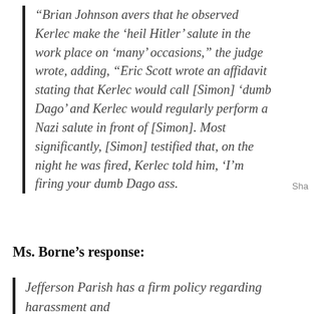“Brian Johnson avers that he observed Kerlec make the ‘heil Hitler’ salute in the work place on ‘many’ occasions,” the judge wrote, adding, “Eric Scott wrote an affidavit stating that Kerlec would call [Simon] ‘dumb Dago’ and Kerlec would regularly perform a Nazi salute in front of [Simon]. Most significantly, [Simon] testified that, on the night he was fired, Kerlec told him, ‘I’m firing your dumb Dago ass.
Ms. Borne’s response:
Jefferson Parish has a firm policy regarding harassment and